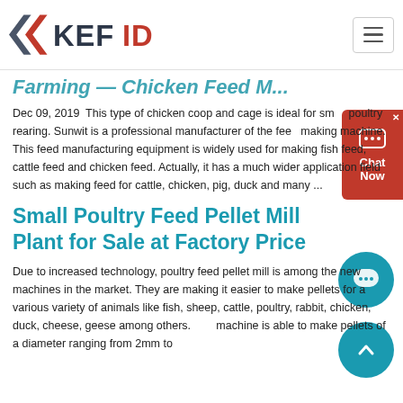KEFID logo and navigation
Farming — Chicken Feed M...
Dec 09, 2019  This type of chicken coop and cage is ideal for small poultry rearing. Sunwit is a professional manufacturer of the feed making machine. This feed manufacturing equipment is widely used for making fish feed, cattle feed and chicken feed. Actually, it has a much wider application field such as making feed for cattle, chicken, pig, duck and many ...
Small Poultry Feed Pellet Mill Plant for Sale at Factory Price
Due to increased technology, poultry feed pellet mill is among the new machines in the market. They are making it easier to make pellets for a various variety of animals like fish, sheep, cattle, poultry, rabbit, chicken, duck, cheese, geese among others. The machine is able to make pellets of a diameter ranging from 2mm to